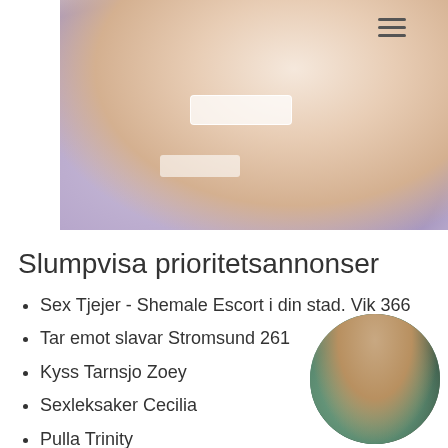[Figure (photo): Photo of a person's legs in light purple/lilac stockings with white lace bands, posed on a floral background]
Slumpvisa prioritetsannonser
Sex Tjejer - Shemale Escort i din stad. Vik 366
Tar emot slavar Stromsund 261
Kyss Tarnsjo Zoey
Sexleksaker Cecilia
Pulla Trinity
[Figure (photo): Circular thumbnail photo of a person in teal top and denim shorts, viewed from behind]